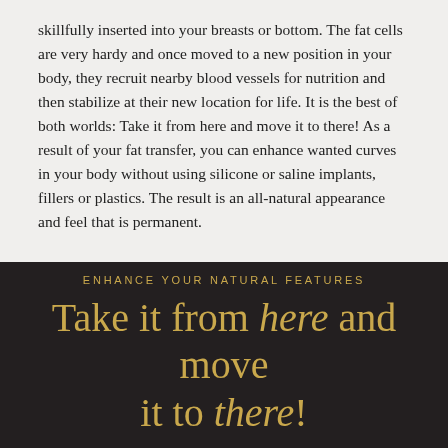skillfully inserted into your breasts or bottom. The fat cells are very hardy and once moved to a new position in your body, they recruit nearby blood vessels for nutrition and then stabilize at their new location for life. It is the best of both worlds: Take it from here and move it to there! As a result of your fat transfer, you can enhance wanted curves in your body without using silicone or saline implants, fillers or plastics. The result is an all-natural appearance and feel that is permanent.
ENHANCE YOUR NATURAL FEATURES
Take it from here and move it to there!